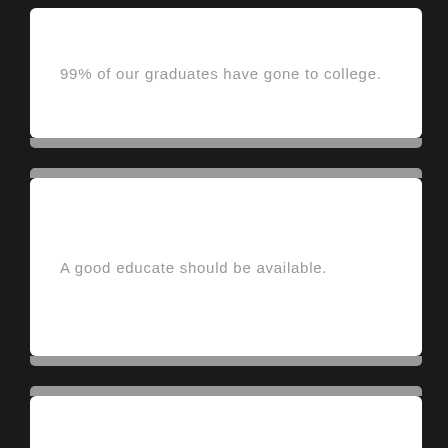99% of our graduates have gone to college.
A good educate should be available.
When you look at schools, ask about.